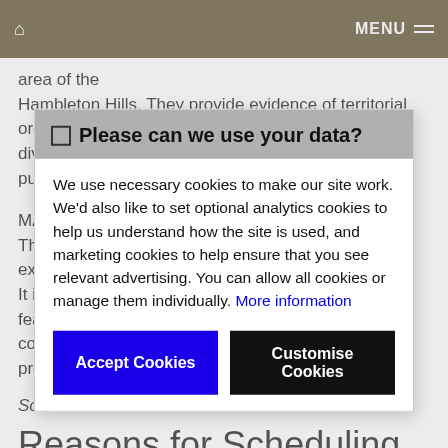Home | MENU
area of the Hambleton Hills. They provide evidence of territorial organisation marking the divis purp
MAP The extr It inc feat cons pres
Sou
Reasons for Scheduling
Please can we use your data? We use necessary cookies to make our site work. We'd also like to set optional analytics cookies to help us understand how the site is used, and marketing cookies to help ensure that you see relevant advertising. You can allow all cookies or manage them individually. More information
Accept Cookies | Customise Cookies